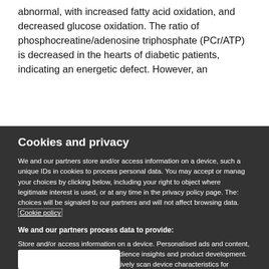abnormal, with increased fatty acid oxidation, and decreased glucose oxidation. The ratio of phosphocreatine/adenosine triphosphate (PCr/ATP) is decreased in the hearts of diabetic patients, indicating an energetic defect. However, an
Cookies and privacy
We and our partners store and/or access information on a device, such a unique IDs in cookies to process personal data. You may accept or manag your choices by clicking below, including your right to object where legitimate interest is used, or at any time in the privacy policy page. The choices will be signaled to our partners and will not affect browsing data. Cookie policy
We and our partners process data to provide:
Store and/or access information on a device. Personalised ads and content, ad and content measurement, audience insights and product development. Use precise geolocation data. Actively scan device characteristics for identification
List of Partners (vendors)